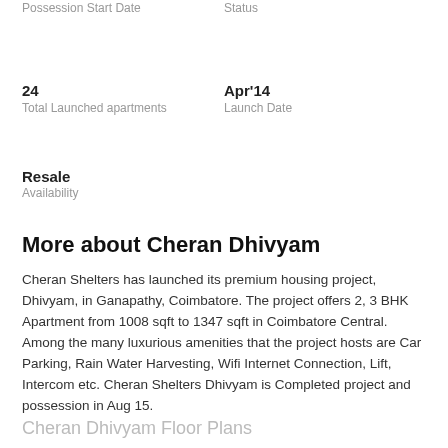Possession Start Date
Status
24
Total Launched apartments
Apr'14
Launch Date
Resale
Availability
More about Cheran Dhivyam
Cheran Shelters has launched its premium housing project, Dhivyam, in Ganapathy, Coimbatore. The project offers 2, 3 BHK Apartment from 1008 sqft to 1347 sqft in Coimbatore Central. Among the many luxurious amenities that the project hosts are Car Parking, Rain Water Harvesting, Wifi Internet Connection, Lift, Intercom etc. Cheran Shelters Dhivyam is Completed project and possession in Aug 15.
Cheran Dhivyam Floor Plans